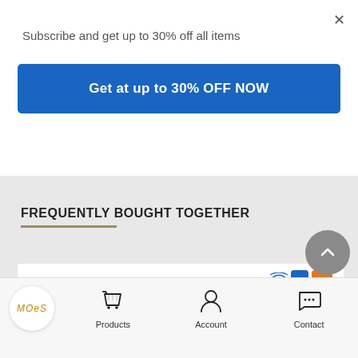Subscribe and get up to 30% off all items
Get at up to 30% OFF NOW
FREQUENTLY BOUGHT TOGETHER
[Figure (screenshot): Product image of a white smart wall switch with WiFi, Bluetooth, and Tuya smart icons visible in the top right corner]
Products | Account | Contact